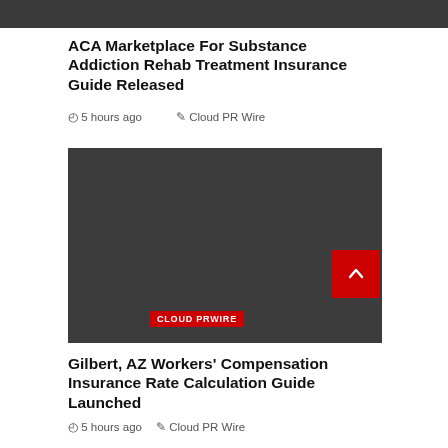[Figure (other): Dark gray banner image at top of page]
ACA Marketplace For Substance Addiction Rehab Treatment Insurance Guide Released
5 hours ago   Cloud PR Wire
[Figure (other): Dark gray card image with red CLOUD PRWIRE badge in upper left]
Gilbert, AZ Workers' Compensation Insurance Rate Calculation Guide Launched
5 hours ago   Cloud PR Wire